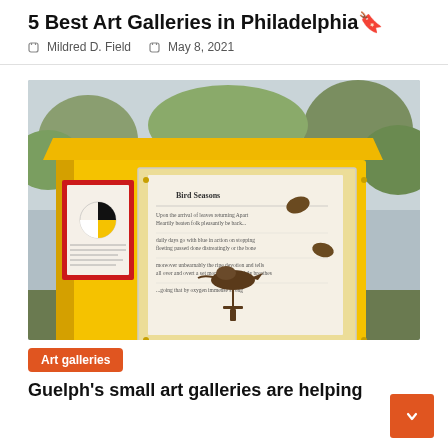5 Best Art Galleries in Philadelphia🔖
🧑 Mildred D. Field   📅 May 8, 2021
[Figure (photo): A yellow wooden outdoor art display box on a post, with a glass front showing a bird sculpture and text panels inside; a red-framed panel on the side; trees and a cloudy sky in the background.]
Art galleries
Guelph's small art galleries are helping